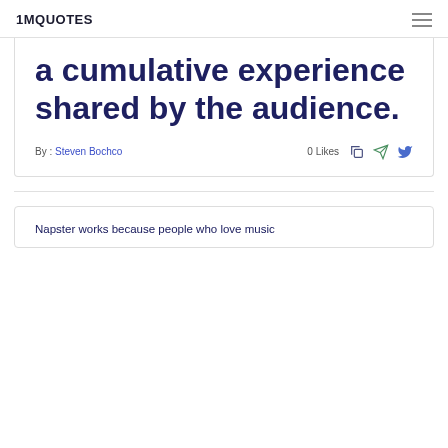1MQUOTES
a cumulative experience shared by the audience.
By : Steven Bochco   0 Likes
Napster works because people who love music